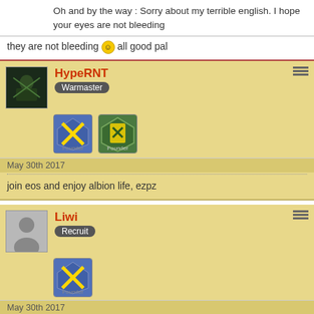Oh and by the way : Sorry about my terrible english. I hope your eyes are not bleeding
they are not bleeding 🙂 all good pal
HypeRNT
Warmaster
May 30th 2017
join eos and enjoy albion life, ezpz
Liwi
Recruit
May 30th 2017
You know if elkite is the front of a large group of player (like 15-20) and if they trust him, he made the most important and cool think on this kind of